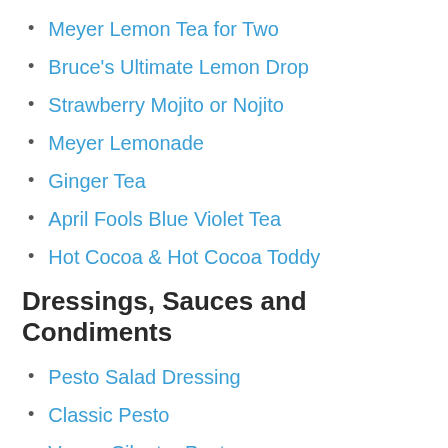Meyer Lemon Tea for Two
Bruce's Ultimate Lemon Drop
Strawberry Mojito or Nojito
Meyer Lemonade
Ginger Tea
April Fools Blue Violet Tea
Hot Cocoa & Hot Cocoa Toddy
Dressings, Sauces and Condiments
Pesto Salad Dressing
Classic Pesto
Vegan Cilantro Pesto
Fava Bean & Parsley Pesto
Baked Tomato Sauce
Slow Cooker Tomato Sauce
Fresh Raw Tomato Sauce with Garlic & Herbs
Lemon-Herb Sauce for Fish or Veggies
No-cook Raspberry Vinegar